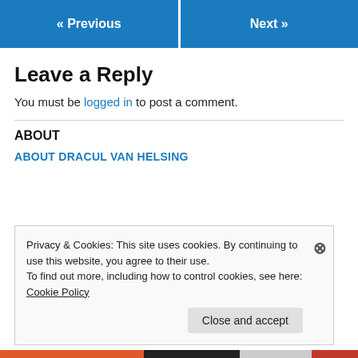« Previous    Next »
Leave a Reply
You must be logged in to post a comment.
ABOUT
ABOUT DRACUL VAN HELSING
Privacy & Cookies: This site uses cookies. By continuing to use this website, you agree to their use.
To find out more, including how to control cookies, see here: Cookie Policy